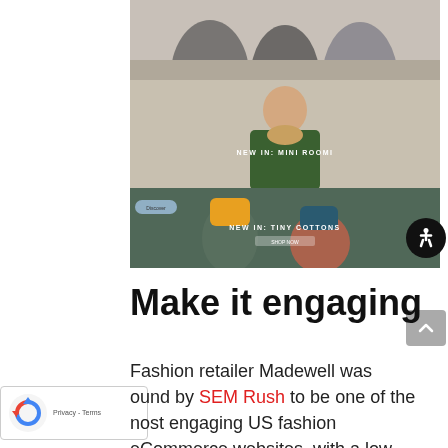[Figure (screenshot): Screenshot of a fashion eCommerce website showing three stacked banner images: top shows people sitting (partial, cropped), middle shows a child in a green jacket with text 'NEW IN: MINI ROOMI', bottom shows children in winter hats with text 'NEW IN: TINY COTTONS'. An accessibility button (wheelchair icon) is visible on the right side.]
Make it engaging
Fashion retailer Madewell was found by SEM Rush to be one of the most engaging US fashion eCommerce websites, with a low